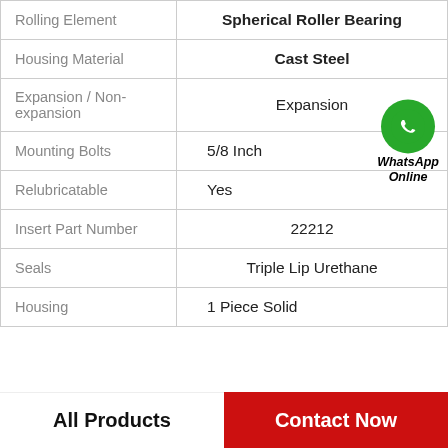| Property | Value |
| --- | --- |
| Rolling Element | Spherical Roller Bearing |
| Housing Material | Cast Steel |
| Expansion / Non-expansion | Expansion |
| Mounting Bolts | 5/8 Inch |
| Relubricatable | Yes |
| Insert Part Number | 22212 |
| Seals | Triple Lip Urethane |
| Housing | 1 Piece Solid |
[Figure (logo): WhatsApp green circle icon with phone handset, labeled WhatsApp Online in bold italic]
All Products
Contact Now